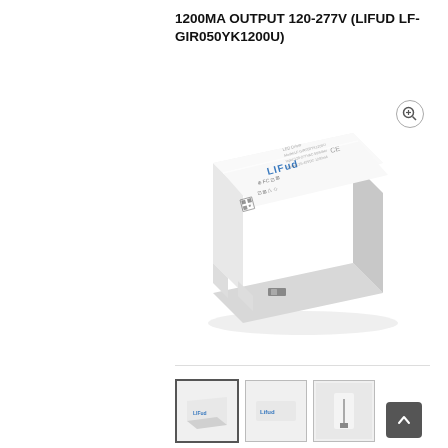1200MA OUTPUT 120-277V (LIFUD LF-GIR050YK1200U)
[Figure (photo): White rectangular LED driver/power supply unit with LIFUD branding on the front face, showing certifications and specifications labels. The device is a compact elongated white plastic enclosure photographed at an angle showing the top and front.]
[Figure (photo): Thumbnail 1: LED driver from side angle, same LIFUD unit]
[Figure (photo): Thumbnail 2: LED driver showing LIFUD label on white background]
[Figure (photo): Thumbnail 3: LED driver connector/wiring closeup]